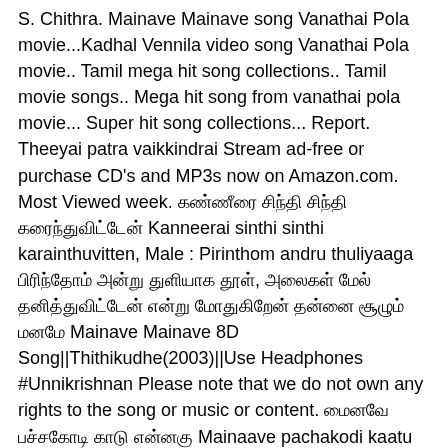S. Chithra. Mainave Mainave song Vanathai Pola movie...Kadhal Vennila video song Vanathai Pola movie.. Tamil mega hit song collections.. Tamil movie songs.. Mega hit song from vanathai pola movie... Super hit song collections... Report. Theeyai patra vaikkindrai Stream ad-free or purchase CD's and MP3s now on Amazon.com. Most Viewed week. கண்ணீரை சிந்தி சிந்தி கரைந்துவிட்டேன் Kanneerai sinthi sinthi karainthuvitten, Male : Pirinthom andru thuliyaaga பிரிந்தோம் அன்று துளியாக தூள், அலைகள் மேல் தனித்துவிட்டேன் என்று மோதுகிறேன் தன்னை சூழும் மனமே Mainave Mainave 8D Song||Thithikudhe(2003)||Use Headphones #Unnikrishnan Please note that we do not own any rights to the song or music or content. மைனவே பச்சகோடி காடு என்னகு Mainaave pachakodi kaatu ennaku. Kaadhal enbathaa Ithai maayam enbathaa.... மைனவே மோகினியே மயங்கினேன் மதங்கி மனதில் மோகினியே மண் மதிரம்